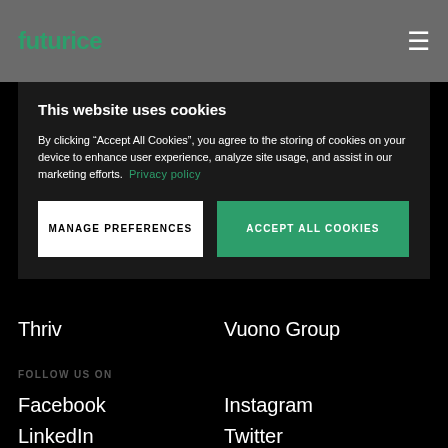futurice
This website uses cookies
By clicking "Accept All Cookies", you agree to the storing of cookies on your device to enhance user experience, analyze site usage, and assist in our marketing efforts. Privacy policy
MANAGE PREFERENCES
ACCEPT ALL COOKIES
Thriv
Vuono Group
FOLLOW US ON
Facebook
Instagram
LinkedIn
Twitter